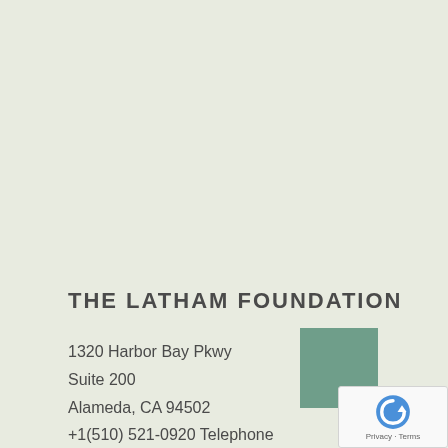THE LATHAM FOUNDATION
1320 Harbor Bay Pkwy
Suite 200
Alamedea, CA 94502
+1(510) 521-0920 Telephone
[Figure (map): Google Maps widget showing location with green marker box and reCAPTCHA overlay with Privacy and Terms links]